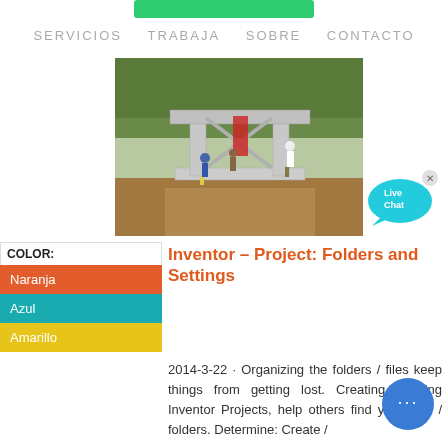SERVICIOS   TRABAJA   SOBRE   CONTACTO
[Figure (photo): Construction workers at a precast concrete structure assembly site outdoors with trees in the background]
[Figure (other): Live Chat speech bubble icon in cyan/blue]
COLOR:
Naranja
Azul
Amarillo
Inventor – Project: Folders and Settings
2014-3-22 · Organizing the folders / files keep things from getting lost. Creating / using Inventor Projects, help others find your files / folders. Determine: Create /